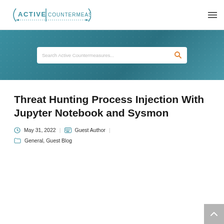ACTIVE COUNTERMEASURES
[Figure (screenshot): Search bar with placeholder text 'Search Active Countermeasures...' and orange search icon, on a teal background banner]
Threat Hunting Process Injection With Jupyter Notebook and Sysmon
May 31, 2022 | Guest Author |
General, Guest Blog